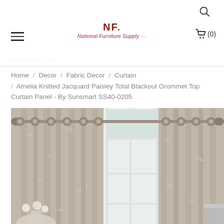National Furniture Supply
Home / Decor / Fabric Decor / Curtain / Amelia Knitted Jacquard Paisley Total Blackout Grommet Top Curtain Panel - By Sunsmart SS40-0205
[Figure (photo): Product photo of Amelia Knitted Jacquard Paisley Total Blackout Grommet Top Curtain Panel in beige/taupe color, hung on a silver curtain rod with grommet tops, covering a window in a light gray room.]